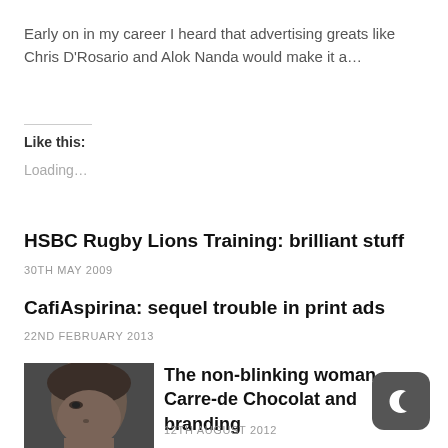Early on in my career I heard that advertising greats like Chris D'Rosario and Alok Nanda would make it a…
Like this:
Loading...
HSBC Rugby Lions Training: brilliant stuff
30TH MAY 2009
CafiAspirina: sequel trouble in print ads
22ND FEBRUARY 2013
[Figure (photo): Close-up photograph of a woman's face looking upward]
The non-blinking woman, Carre-de Chocolat and branding
12TH AUGUST 2012